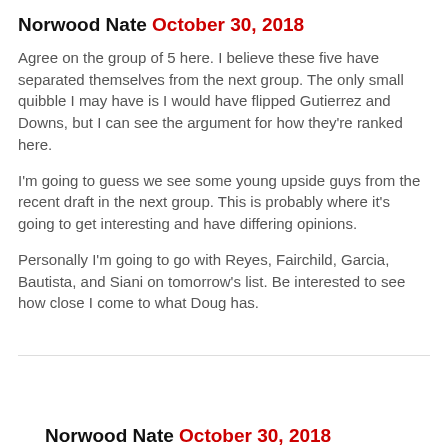Norwood Nate October 30, 2018
Agree on the group of 5 here. I believe these five have separated themselves from the next group. The only small quibble I may have is I would have flipped Gutierrez and Downs, but I can see the argument for how they're ranked here.
I'm going to guess we see some young upside guys from the recent draft in the next group. This is probably where it's going to get interesting and have differing opinions.
Personally I'm going to go with Reyes, Fairchild, Garcia, Bautista, and Siani on tomorrow's list. Be interested to see how close I come to what Doug has.
Norwood Nate October 30, 2018